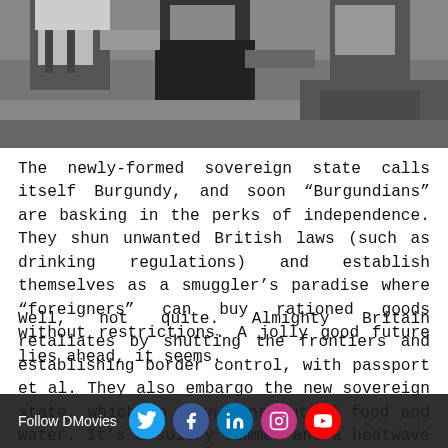[Figure (photo): Black and white photograph showing people, partially visible at top of page]
The newly-formed sovereign state calls itself Burgundy, and soon “Burgundians” are basking in the perks of independence. They shun unwanted British laws (such as drinking regulations) and establish themselves as a smuggler’s paradise where “foreigners” can buy rationed goods without restrictions. A jolly good future lies ahead, it seems.
Well, not quite. Almighty Britain retaliates by shutting the frontiers and establishing border control, with passport et al. They also embargo the new sovereign state, which in turn runs out of food and water. It’s a sultry summer and a heatwave castigates Burgundians, and so they soon have to rob British water. The various London districts (Camden, Ealing… the internatio…
Follow DMovies